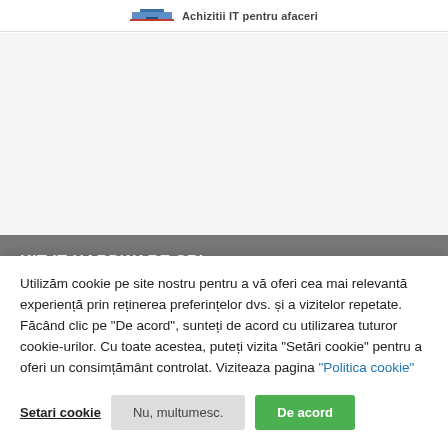Achizitii IT pentru afaceri
KIT IT HARDWARE SRL
CUI 44610230
J40/12398/2021
Utilizăm cookie pe site nostru pentru a vă oferi cea mai relevantă experiență prin reținerea preferințelor dvs. și a vizitelor repetate. Făcând clic pe "De acord", sunteți de acord cu utilizarea tuturor cookie-urilor. Cu toate acestea, puteți vizita "Setări cookie" pentru a oferi un consimțământ controlat. Viziteaza pagina "Politica cookie"
Setari cookie | Nu, multumesc. | De acord